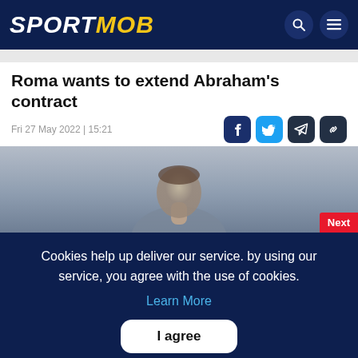SPORTMOB
Roma wants to extend Abraham's contract
Fri 27 May 2022 | 15:21
[Figure (photo): Blurred photo of a football player, partially visible from the shoulders up against a gray background. A red 'Next' button is visible at bottom right.]
Cookies help up deliver our service. by using our service, you agree with the use of cookies.
Learn More
I agree
Matches  News  Home  Prediction  Fun Corner